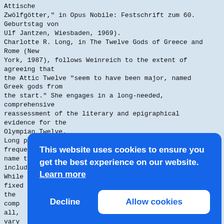Attische
Zwölfgötter," in Opus Nobile: Festschrift zum 60.
Geburtstag von
Ulf Jantzen, Wiesbaden, 1969).
Charlotte R. Long, in The Twelve Gods of Greece and
Rome (New
York, 1987), follows Weinreich to the extent of
agreeing that
the Attic Twelve "seem to have been major, named
Greek gods from
the start." She engages in a long-needed,
comprehensive
reassessment of the literary and epigraphical
evidence for the
Olympian Twelve.
Long points out that, while Greek texts
frequently mention the number twelve, they seldom
name the gods
included in that number.
While the figure twelve is firmly
fixed in surviving sources, the actual composition of
the
comp
all,
vary
In a
six
were
dedi
and
Apol
Alpheus, Kronos
and Rhea.
This website uses cookies to ensure you get the best experience on our website. Learn more
Decline
Allow cookies